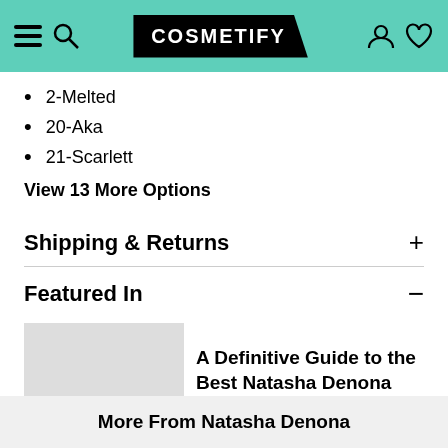[Figure (screenshot): Cosmetify website navigation header with hamburger menu, search icon, Cosmetify logo, user account icon, and heart/wishlist icon on a teal background]
2-Melted
20-Aka
21-Scarlett
View 13 More Options
Shipping & Returns
Featured In
A Definitive Guide to the Best Natasha Denona Makeup Products
More From Natasha Denona